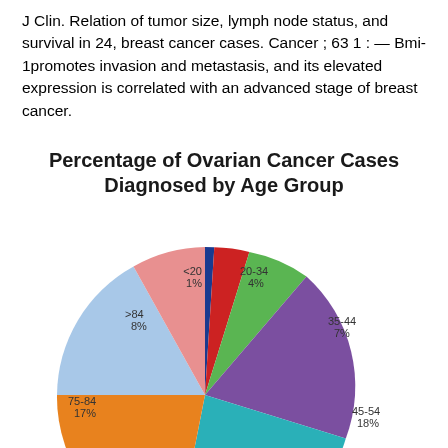J Clin. Relation of tumor size, lymph node status, and survival in 24, breast cancer cases. Cancer ; 63 1 : — Bmi-1promotes invasion and metastasis, and its elevated expression is correlated with an advanced stage of breast cancer.
Percentage of Ovarian Cancer Cases Diagnosed by Age Group
[Figure (pie-chart): Percentage of Ovarian Cancer Cases Diagnosed by Age Group]